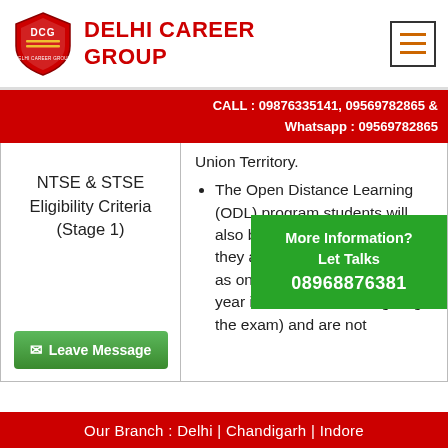[Figure (logo): Delhi Career Group shield logo with DCG text]
DELHI CAREER GROUP
CALL : 09876335141, 09569782865 &
Whatsapp : 09569782865
NTSE & STSE Eligibility Criteria (Stage 1)
Union Territory.
The Open Distance Learning (ODL) program students will also be considered provided they are below 18 years of age as on July 1, YYYY (the same year in which candidate giving the exam) and are not
[Figure (infographic): Green popup: More Information? Let Talks 08968876381]
Leave Message
Our Branch : Delhi | Chandigarh | Indore